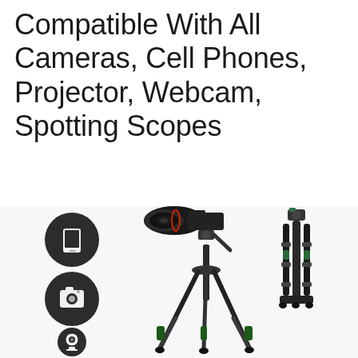Compatible With All Cameras, Cell Phones, Projector, Webcam, Spotting Scopes
[Figure (photo): Product photo showing a camera tripod with a DSLR camera and telephoto lens mounted on it (left), and a collapsed/folded tripod (right). Three dark circular icons on the left show a smartphone, a camera, and a webcam, indicating device compatibility.]